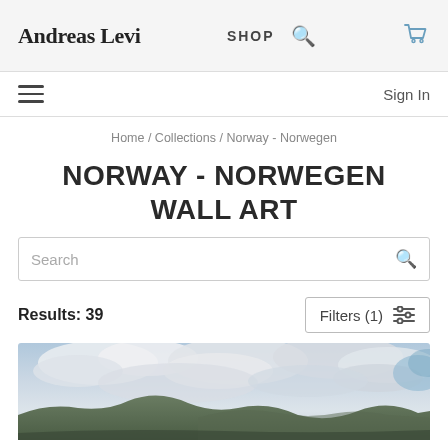Andreas Levi — SHOP
Home / Collections / Norway - Norwegen
NORWAY - NORWEGEN WALL ART
Search
Results: 39
Filters (1)
[Figure (photo): Partial view of a Norway landscape photograph showing a dramatic cloudy sky over green hills, partially visible at bottom of page]